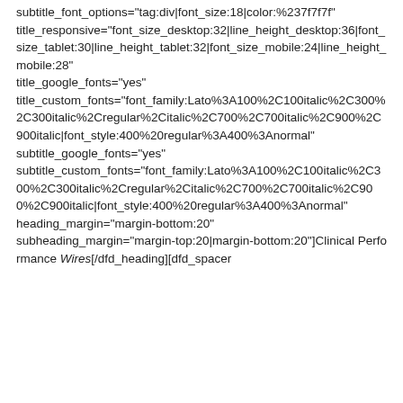subtitle_font_options="tag:div|font_size:18|color:%237f7f7f" title_responsive="font_size_desktop:32|line_height_desktop:36|font_size_tablet:30|line_height_tablet:32|font_size_mobile:24|line_height_mobile:28" title_google_fonts="yes" title_custom_fonts="font_family:Lato%3A100%2C100italic%2C300%2C300italic%2Cregular%2Citalic%2C700%2C700italic%2C900%2C900italic|font_style:400%20regular%3A400%3Anormal" subtitle_google_fonts="yes" subtitle_custom_fonts="font_family:Lato%3A100%2C100italic%2C300%2C300italic%2Cregular%2Citalic%2C700%2C700italic%2C900%2C900italic|font_style:400%20regular%3A400%3Anormal" heading_margin="margin-bottom:20" subheading_margin="margin-top:20|margin-bottom:20"]Clinical Performance Wires[/dfd_heading][dfd_spacer